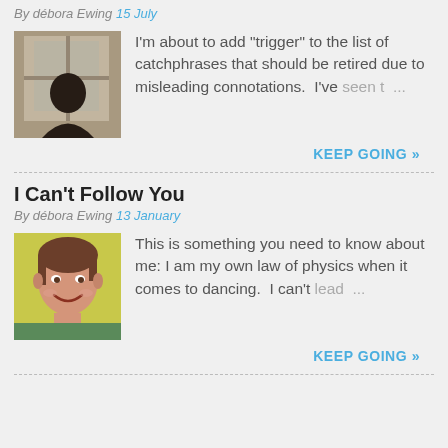By débora Ewing 15 July
[Figure (photo): A person looking out a window, dark silhouette against a bright window background]
I'm about to add "trigger" to the list of catchphrases that should be retired due to misleading connotations.  I've seen t ...
KEEP GOING »
I Can't Follow You
By débora Ewing 13 January
[Figure (photo): A smiling young girl with brown hair, yellow background]
This is something you need to know about me: I am my own law of physics when it comes to dancing.  I can't lead ...
KEEP GOING »